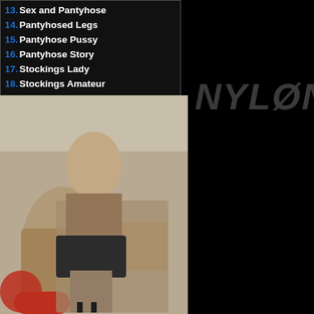13. Sex and Pantyhose
14. Pantyhosed Legs
15. Pantyhose Pussy
16. Pantyhose Story
17. Stockings Lady
18. Stockings Amateur
19. Nylon Body
20. Stockings Anus
[Figure (photo): Woman in office attire sitting on a red chair at a desk, wearing pantyhose and heels]
NYLON